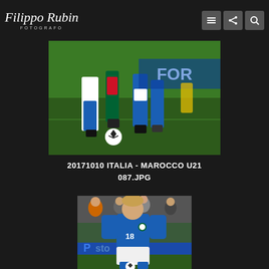Filippo Rubin FOTOGRAFO
[Figure (photo): Soccer match action photo showing players' legs and feet during Italy vs Morocco U21 match, ball on ground, stadium pitch visible]
20171010 ITALIA - MAROCCO U21 087.JPG
[Figure (photo): Italian soccer player wearing blue national team jersey number 18 (Puma), dribbling a ball on the pitch, stadium crowd visible in background]